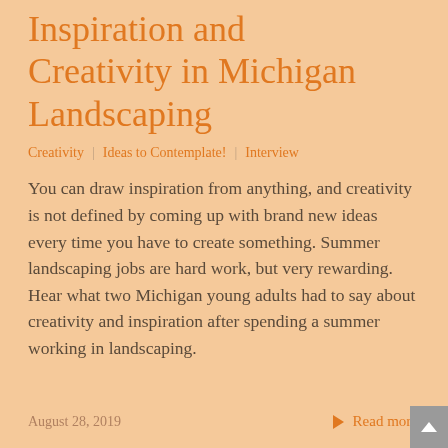Inspiration and Creativity in Michigan Landscaping
Creativity  |  Ideas to Contemplate!  |  Interview
You can draw inspiration from anything, and creativity is not defined by coming up with brand new ideas every time you have to create something. Summer landscaping jobs are hard work, but very rewarding. Hear what two Michigan young adults had to say about creativity and inspiration after spending a summer working in landscaping.
August 28, 2019
Read more